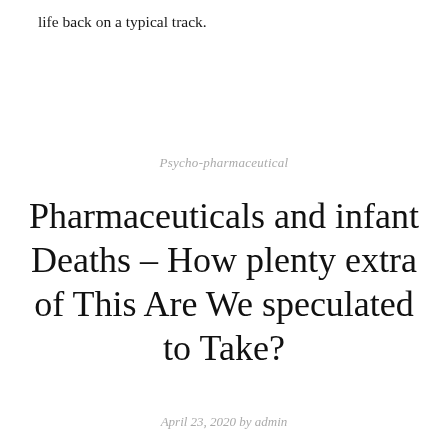life back on a typical track.
Psycho-pharmaceutical
Pharmaceuticals and infant Deaths – How plenty extra of This Are We speculated to Take?
April 23, 2020 by admin